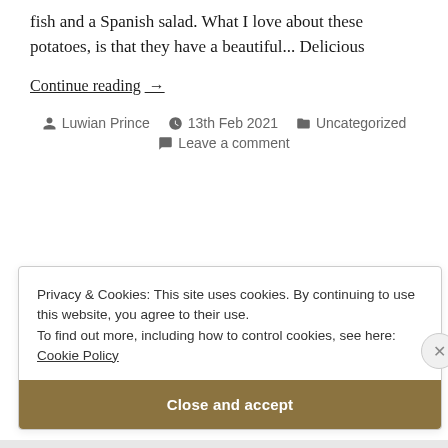fish and a Spanish salad. What I love about these potatoes, is that they have a beautiful... Delicious
Continue reading →
Luwian Prince  13th Feb 2021  Uncategorized  Leave a comment
Privacy & Cookies: This site uses cookies. By continuing to use this website, you agree to their use. To find out more, including how to control cookies, see here: Cookie Policy
Close and accept